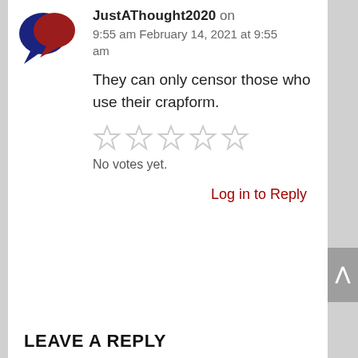[Figure (logo): Two overlapping speech bubble icons, one dark navy blue and one dark red]
JustAThought2020 on 9:55 am February 14, 2021 at 9:55 am
They can only censor those who use their crapform.
[Figure (other): Five empty/outlined star rating icons in light gray]
No votes yet.
Log in to Reply
LEAVE A REPLY